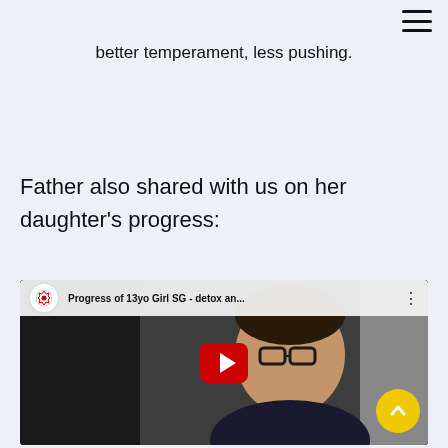≡
better temperament, less pushing.
Father also shared with us on her daughter's progress:
[Figure (screenshot): YouTube video thumbnail showing a man with glasses wearing a dark jacket, with YouTube play button overlay. Video title: 'Progress of 13yo Girl SG - detox an...' with YouTube channel icon and three-dot menu.]